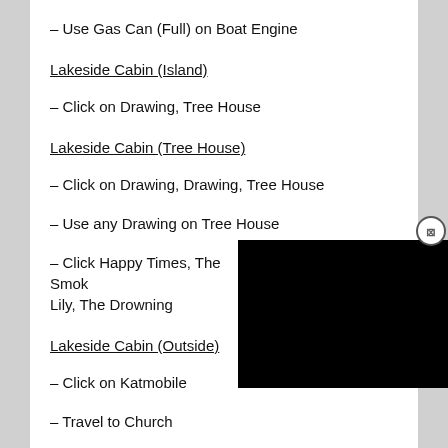– Use Gas Can (Full) on Boat Engine
Lakeside Cabin (Island)
– Click on Drawing, Tree House
Lakeside Cabin (Tree House)
– Click on Drawing, Drawing, Tree House
– Use any Drawing on Tree House
– Click Happy Times, The Smoky Lily, The Drowning
Lakeside Cabin (Outside)
– Click on Katmobile
– Travel to Church